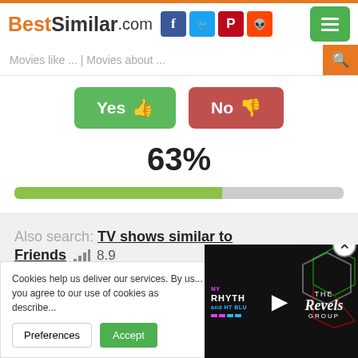BestSimilar.com
Movies like ... | Movies about ...
[Figure (infographic): Yes thumbs up button (green) and No thumbs down button (red) voting interface with 63% progress bar]
63%
Also search: TV shows similar to Friends  8.9
Cookies help us deliver our services. By us... you agree to our use of cookies as describe...
[Figure (screenshot): Video advertisement overlay showing My Rhythm and My Blues with The Revels Group branding on black background]